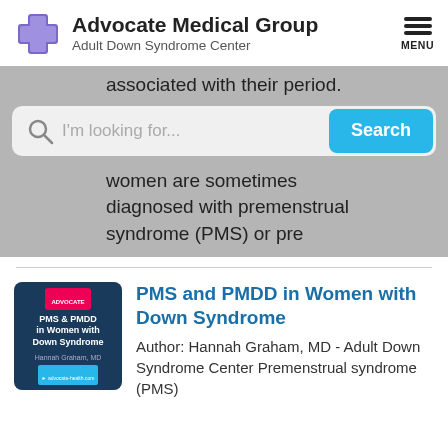Advocate Medical Group Adult Down Syndrome Center
associated with their period.
[Figure (screenshot): Search bar with magnifying glass icon, placeholder text 'I'm looking for...' and a cyan 'Search' button]
women are sometimes diagnosed with premenstrual syndrome (PMS) or pre
PMS and PMDD in Women with Down Syndrome
Author: Hannah Graham, MD - Adult Down Syndrome Center Premenstrual syndrome (PMS)